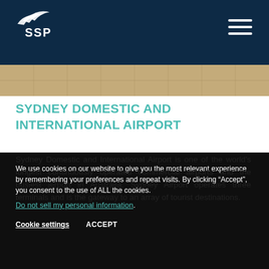SSP
[Figure (photo): Partial view of airport terminal floor tiles]
SYDNEY DOMESTIC AND INTERNATIONAL AIRPORT
Sydney Domestic and International Airport is one of the world's longest continuously operated commercial airports and the busiest airport in Australia. Sydney Airport operates three terminals and is the gateway to an array of tourist destinations.
We use cookies on our website to give you the most relevant experience by remembering your preferences and repeat visits. By clicking “Accept”, you consent to the use of ALL the cookies.
Do not sell my personal information.
Cookie settings   ACCEPT